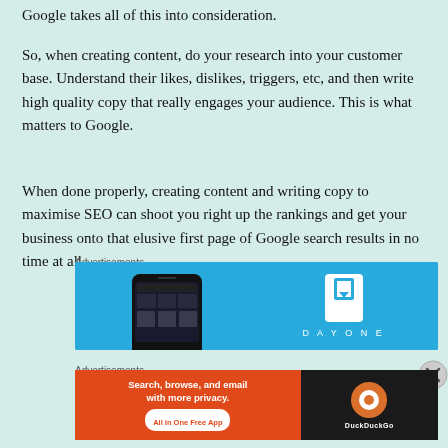Google takes all of this into consideration.
So, when creating content, do your research into your customer base. Understand their likes, dislikes, triggers, etc, and then write high quality copy that really engages your audience. This is what matters to Google.
When done properly, creating content and writing copy to maximise SEO can shoot you right up the rankings and get your business onto that elusive first page of Google search results in no time at all.
Advertisements
[Figure (screenshot): DayOne app advertisement with blue background showing a smartphone and the DayOne logo]
Advertisements
[Figure (screenshot): DuckDuckGo advertisement: Search, browse, and email with more privacy. All in One Free App]